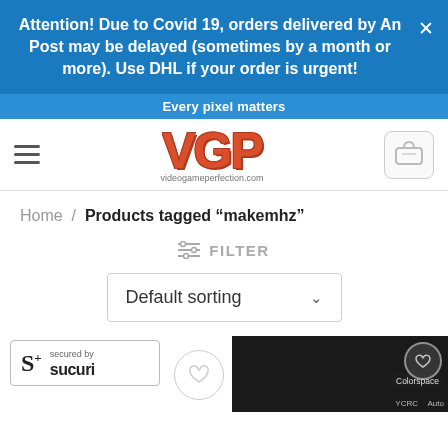Attention! Due to Covid 19, orders delivered by An Post may be delayed (sometimes by a month or more). Use DHL if your order is urgent!
Every pixel matters
[Figure (logo): VGP logo with text 'videogameperfection.com']
Home / Products tagged "makemhz"
FILTER
Default sorting
[Figure (logo): Secured by Sucuri badge]
[Figure (screenshot): Product thumbnail showing Colorspace label on dark background]